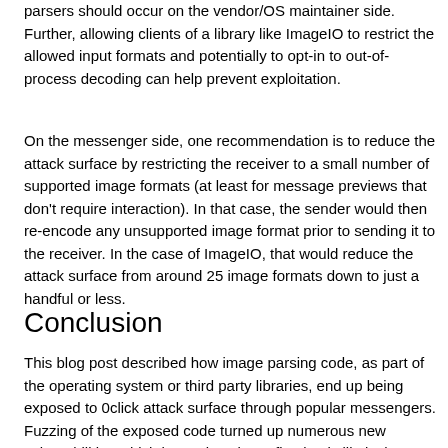parsers should occur on the vendor/OS maintainer side. Further, allowing clients of a library like ImageIO to restrict the allowed input formats and potentially to opt-in to out-of-process decoding can help prevent exploitation.
On the messenger side, one recommendation is to reduce the attack surface by restricting the receiver to a small number of supported image formats (at least for message previews that don't require interaction). In that case, the sender would then re-encode any unsupported image format prior to sending it to the receiver. In the case of ImageIO, that would reduce the attack surface from around 25 image formats down to just a handful or less.
Conclusion
This blog post described how image parsing code, as part of the operating system or third party libraries, end up being exposed to 0click attack surface through popular messengers. Fuzzing of the exposed code turned up numerous new vulnerabilities which have since been fixed. It is likely that, given enough effort (and exploit